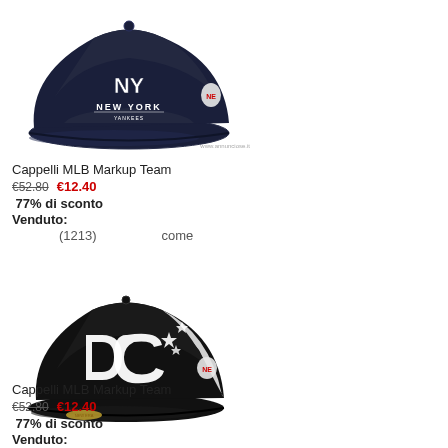[Figure (photo): Navy blue New York Yankees fitted cap with white logo and New Era logo on the side, shown against white background with watermark www.annunciose.it]
www.annunciose.it
Cappelli MLB Markup Team
€52.80   €12.40
77% di sconto
Venduto:
(1213)   come
[Figure (photo): Black and white fitted cap with large DC star logo embroidery on the side, shown against white background]
Cappelli MLB Markup Team
€52.80   €12.40
77% di sconto
Venduto: